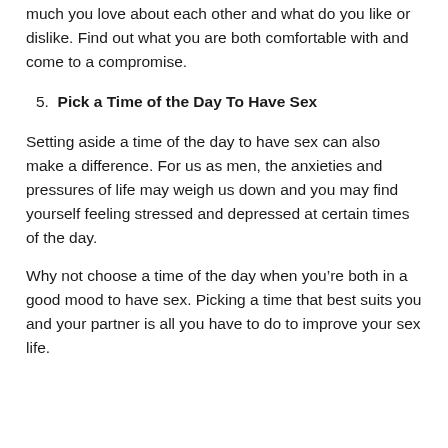Find time to sit down together and talk about what you much you love about each other and what do you like or dislike. Find out what you are both comfortable with and come to a compromise.
5. Pick a Time of the Day To Have Sex
Setting aside a time of the day to have sex can also make a difference. For us as men, the anxieties and pressures of life may weigh us down and you may find yourself feeling stressed and depressed at certain times of the day.
Why not choose a time of the day when you’re both in a good mood to have sex. Picking a time that best suits you and your partner is all you have to do to improve your sex life.